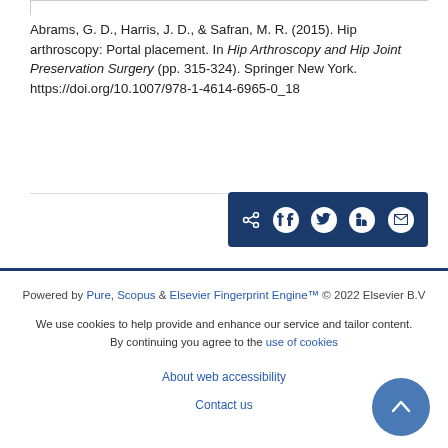Abrams, G. D., Harris, J. D., & Safran, M. R. (2015). Hip arthroscopy: Portal placement. In Hip Arthroscopy and Hip Joint Preservation Surgery (pp. 315-324). Springer New York. https://doi.org/10.1007/978-1-4614-6965-0_18
[Figure (other): Social share bar with icons for share, Facebook, Twitter, LinkedIn, and email on a dark navy background]
Powered by Pure, Scopus & Elsevier Fingerprint Engine™ © 2022 Elsevier B.V
We use cookies to help provide and enhance our service and tailor content. By continuing you agree to the use of cookies
About web accessibility
Contact us